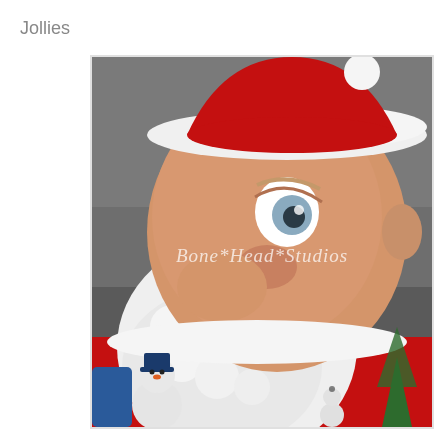Jollies
[Figure (photo): Close-up photo of a whimsical Santa Claus figurine/sculpture with an exaggerated face showing one visible blue eye, white beard, red coat, and a grinning expression. A small snowman figure is visible at the bottom. Watermark reads 'Bone*Head*Studios'. Photo appears to be a clay or polymer art piece by Bone Head Studios.]